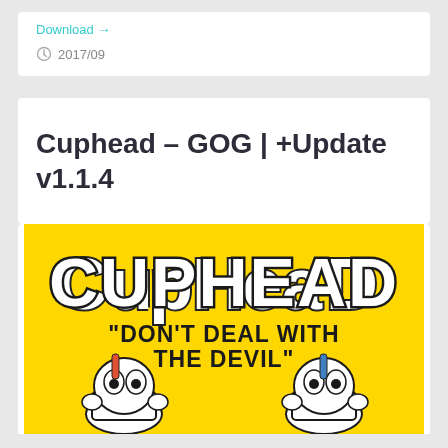Download
2017/09
Cuphead – GOG | +Update v1.1.4
[Figure (illustration): Cuphead game cover art on yellow background showing cartoon cup characters with text: CUPHEAD 'Don't Deal With The Devil']